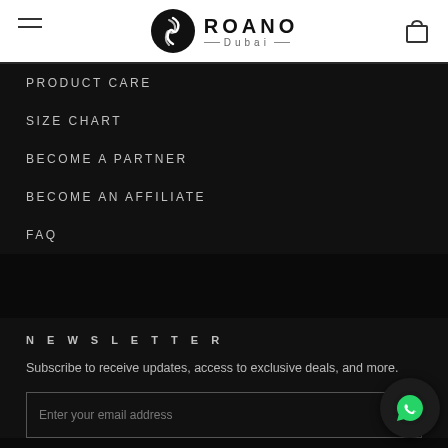ROANO Dubai
PRODUCT CARE
SIZE CHART
BECOME A PARTNER
BECOME AN AFFILIATE
FAQ
NEWSLETTER
Subscribe to receive updates, access to exclusive deals, and more.
Enter your email address